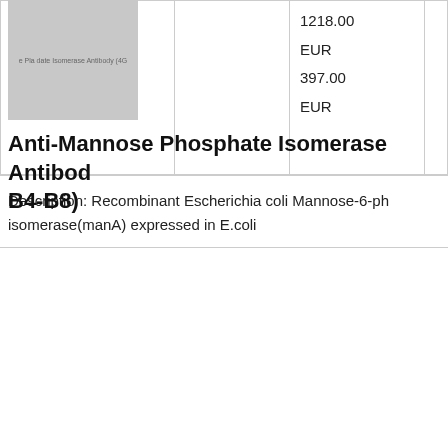|  |  | 1218.00
EUR
397.00
EUR |  |
Description: Recombinant Escherichia coli Mannose-6-ph isomerase(manA) expressed in E.coli
[Figure (photo): Product image placeholder showing antibody product photo with text 'e Pla date Isomerase Antibody (4G']
Anti-Mannose Phosphate Isomerase Antibody B4-B8)